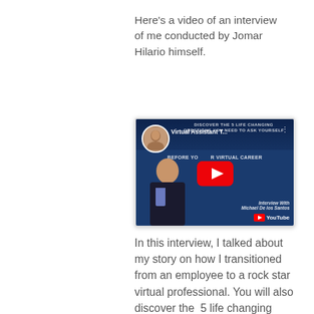Here's a video of an interview of me conducted by Jomar Hilario himself.
[Figure (screenshot): YouTube video thumbnail showing 'Virtual Assistant T...' with a play button, a profile image of a man in a circle, text about 5 life changing questions and virtual career, and a person in a suit in the lower left. YouTube logo visible at bottom right.]
In this interview, I talked about my story on how I transitioned from an employee to a rock star virtual professional. You will also discover the  5 life changing questions you